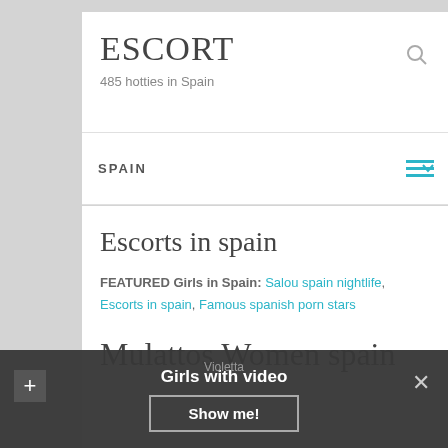ESCORT
485 hotties in Spain
SPAIN
Escorts in spain
FEATURED Girls in Spain: Salou spain nightlife, Escorts in spain, Famous spanish porn stars
Mulattos Women spain
Girls with video
Show me!